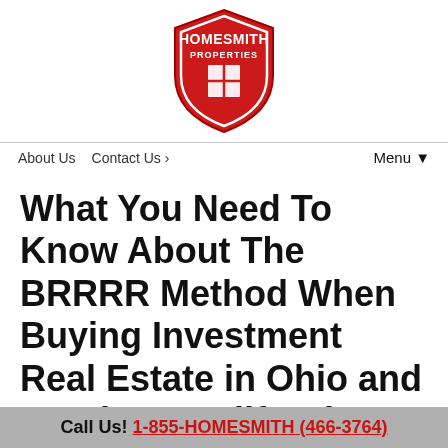[Figure (logo): Homesmith Properties shield logo with white window icon on red background, 'HOMESMITH' in bold across the top and 'PROPERTIES' below]
About Us   Contact Us ›   Menu ▼
What You Need To Know About The BRRRR Method When Buying Investment Real Estate in Ohio and Southern California
May 20, 2020
By Homesmith
Call Us! 1-855-HOMESMITH (466-3764)